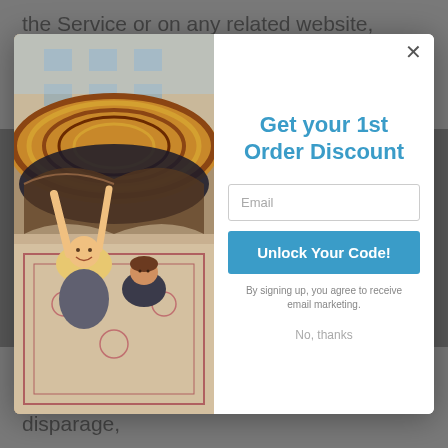the Service or on any related website, should be taken to indicate that all information in the Service or on any related website has been
[Figure (screenshot): A modal popup overlay on top of a legal document page. The modal contains a photo on the left of a woman and child playing under a tent made from a decorative rug. On the right side is a discount offer form with title 'Get your 1st Order Discount', an email input field, an 'Unlock Your Code!' button, signup agreement text, and a 'No, thanks' link. A close (X) button is in the top right corner of the modal.]
property rights of others; (e) to harass, abuse, insult, harm, defame, slander, disparage,